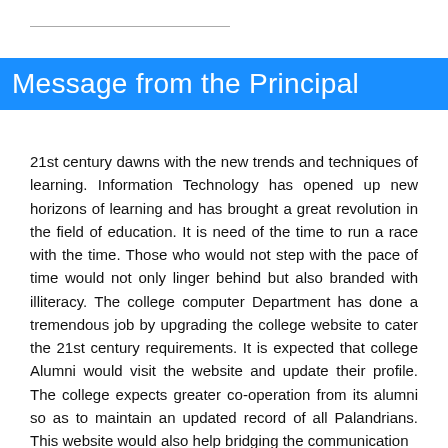Message from the Principal
21st century dawns with the new trends and techniques of learning. Information Technology has opened up new horizons of learning and has brought a great revolution in the field of education. It is need of the time to run a race with the time. Those who would not step with the pace of time would not only linger behind but also branded with illiteracy. The college computer Department has done a tremendous job by upgrading the college website to cater the 21st century requirements. It is expected that college Alumni would visit the website and update their profile. The college expects greater co-operation from its alumni so as to maintain an updated record of all Palandrians. This website would also help bridging the communication